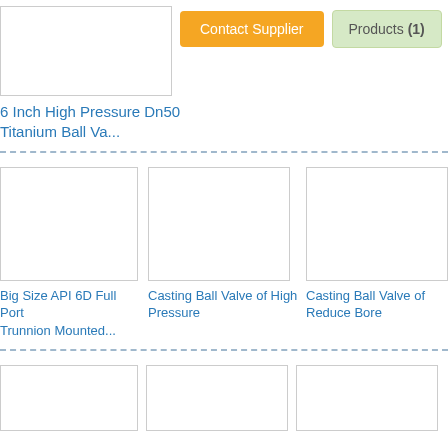[Figure (photo): Product image placeholder box top left]
Contact Supplier
Products (1)
6 Inch High Pressure Dn50 Titanium Ball Va...
[Figure (photo): Product image placeholder - Big Size API 6D Full Port Trunnion Mounted]
[Figure (photo): Product image placeholder - Casting Ball Valve of High Pressure]
[Figure (photo): Product image placeholder - Casting Ball Valve of Reduce Bore]
Big Size API 6D Full Port Trunnion Mounted...
Casting Ball Valve of High Pressure
Casting Ball Valve of Reduce Bore
[Figure (photo): Bottom row product image placeholder 1]
[Figure (photo): Bottom row product image placeholder 2]
[Figure (photo): Bottom row product image placeholder 3]